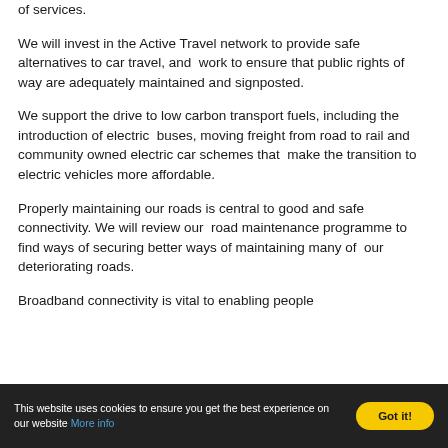of services.
We will invest in the Active Travel network to provide safe alternatives to car travel, and work to ensure that public rights of way are adequately maintained and signposted.
We support the drive to low carbon transport fuels, including the introduction of electric buses, moving freight from road to rail and community owned electric car schemes that make the transition to electric vehicles more affordable.
Properly maintaining our roads is central to good and safe connectivity. We will review our road maintenance programme to find ways of securing better ways of maintaining many of our deteriorating roads.
Broadband connectivity is vital to enabling people
This website uses cookies to ensure you get the best experience on our website More info  Got it!